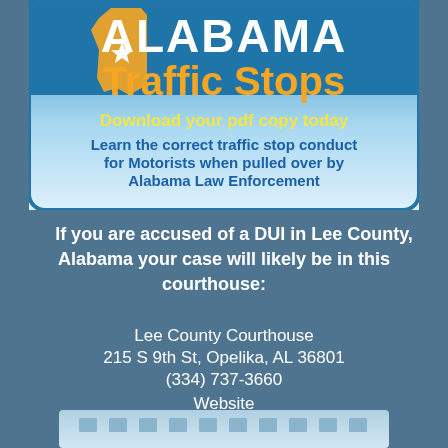[Figure (illustration): Alabama Traffic Stops banner ad with blue gradient background, yellow Alabama state silhouette with star, bold white ALABAMA text, orange Traffic Stops text, yellow download invitation text, and blue descriptive text about learning traffic stop conduct.]
If you are accused of a DUI in Lee County, Alabama your case will likely be in this courthouse:
Lee County Courthouse
215 S 9th St, Opelika, AL 36801
(334) 737-3660
Website
[Figure (photo): Partial view of a building at the bottom of the page.]